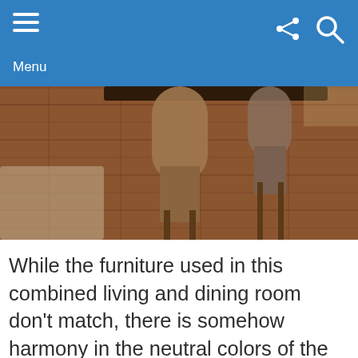Menu
[Figure (photo): Interior photo of a combined living and dining room with wooden flooring, chairs, and a table visible]
While the furniture used in this combined living and dining room don’t match, there is somehow harmony in the neutral colors of the floor, walls, and furniture. The black shelf in the middle is also cleverly used as a divider between both sections.